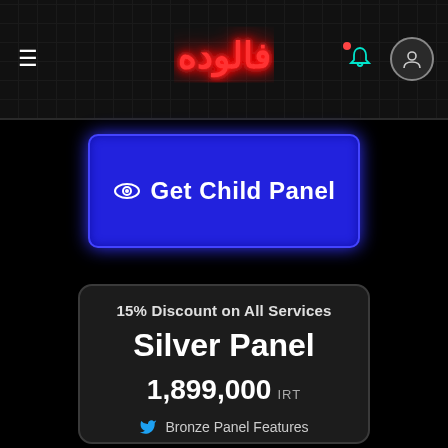≡  فالوده  🔔 👤
👁 Get Child Panel
15% Discount on All Services
Silver Panel
1,899,000 IRT
🐦 Bronze Panel Features